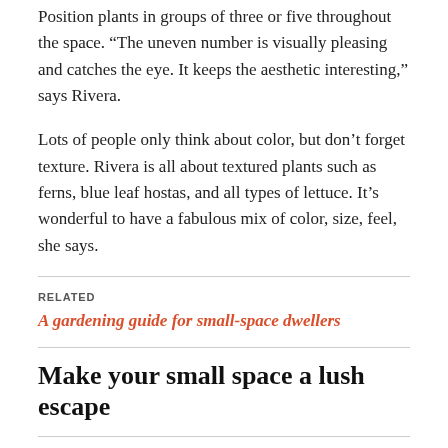Position plants in groups of three or five throughout the space. “The uneven number is visually pleasing and catches the eye. It keeps the aesthetic interesting,” says Rivera.
Lots of people only think about color, but don’t forget texture. Rivera is all about textured plants such as ferns, blue leaf hostas, and all types of lettuce. It’s wonderful to have a fabulous mix of color, size, feel, she says.
RELATED
A gardening guide for small-space dwellers
Make your small space a lush escape
[Figure (logo): Curbed Chicago logo — a house-shaped hexagon outline with CURBED text inside and CHICAGO below]